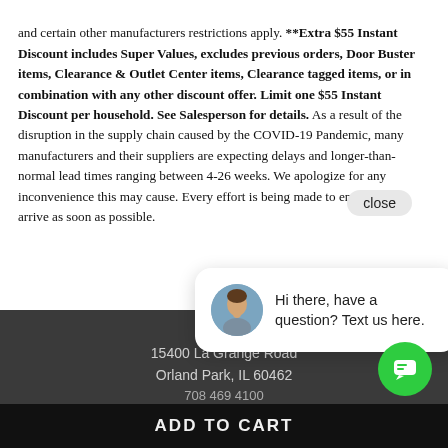and certain other manufacturers restrictions apply. **Extra $55 Instant Discount includes Super Values, excludes previous orders, Door Buster items, Clearance & Outlet Center items, Clearance tagged items, or in combination with any other discount offer. Limit one $55 Instant Discount per household. See Salesperson for details. As a result of the disruption in the supply chain caused by the COVID-19 Pandemic, many manufacturers and their suppliers are expecting delays and longer-than-normal lead times ranging between 4-26 weeks. We apologize for any inconvenience this may cause. Every effort is being made to ensure orders arrive as soon as possible.
[Figure (screenshot): Chat popup widget showing a woman's avatar photo and text 'Hi there, have a question? Text us here.' with a green chat FAB button in the bottom right]
15400 La Grange Road
Orland Park, IL 60462
ADD TO CART